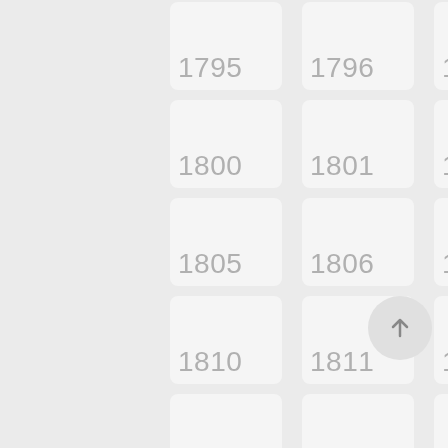[Figure (other): A grid of year number cells (1795–1849) displayed as rounded rectangle tiles on a light gray background, with a scroll-to-top button in the lower right corner.]